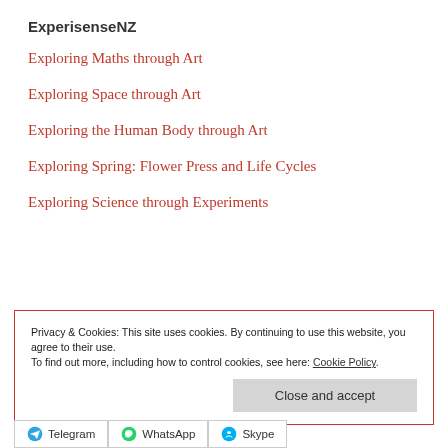ExperisenseNZ
Exploring Maths through Art
Exploring Space through Art
Exploring the Human Body through Art
Exploring Spring: Flower Press and Life Cycles
Exploring Science through Experiments
Privacy & Cookies:  This site uses cookies. By continuing to use this website, you agree to their use.
To find out more, including how to control cookies, see here: Cookie Policy
Telegram  WhatsApp  Skype